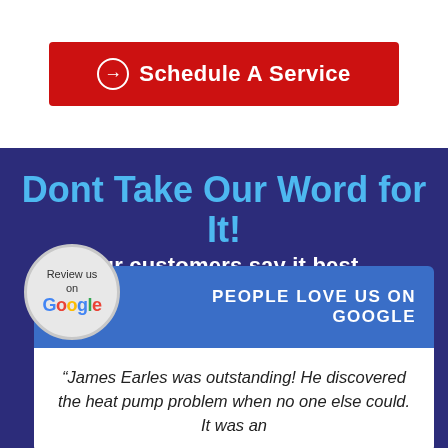[Figure (other): Red button with white text and circled arrow icon reading 'Schedule A Service']
Dont Take Our Word for It!
Our customers say it best.
[Figure (logo): Google review badge: 'Review us on Google' in a grey circle on a blue bar with text 'PEOPLE LOVE US ON GOOGLE']
“James Earles was outstanding! He discovered the heat pump problem when no one else could. It was an